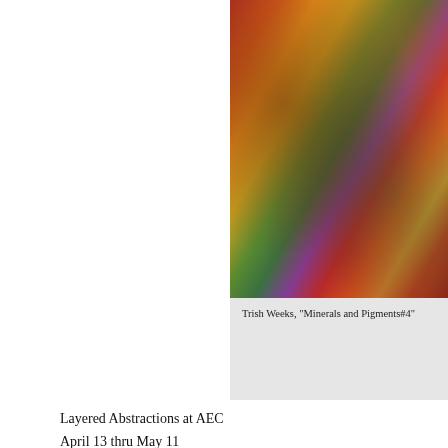[Figure (photo): Abstract artwork by Trish Weeks titled 'Minerals and Pigments#4', showing vivid layers of orange, red, green, and earth tones in an abstract composition.]
Trish Weeks, "Minerals and Pigments#4"
Layered Abstractions at AEC
April 13 thru May 11
Abstract they are; some more than others. Yet sculpture by Robert Pulley,  palette knife p comments on humanity by Paige Williams, were  pulled together by the common, if tenu Robert Pulley has spent decades in sculpture.  With a true artist's love of experiment, he an innate  solid feel for the earth.  Huge forms stand like misplaced monoliths from some the new and beautiful AEC space at 27 West 7th Street, Covington, looking somewhat lo obviously played into their making. My first view of Pulley's work was some years ago yet seemed some wondrous gift of the gods landed by chance.  While the garden, itself, w with its raw force, raised it more than a few levels beyond that.
The three largest pieces, one at 10 feet tall,  were fashioned of clay, sprayed, patterned, s could make rain, snow and light become ever changing parts of them.  Some portions, de of carefully smoothed clay, creating an infinity of new surfaces as one moved around the